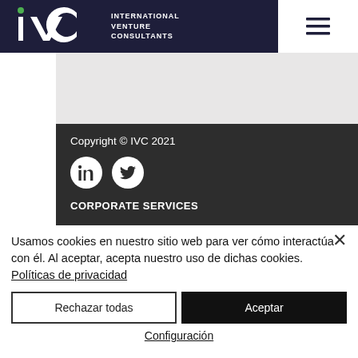[Figure (logo): IVC International Venture Consultants logo with hamburger menu icon on dark navy header bar]
Copyright © IVC 2021
[Figure (infographic): Social media icons: LinkedIn and Twitter circles on dark background]
CORPORATE SERVICES
Usamos cookies en nuestro sitio web para ver cómo interactúa con él. Al aceptar, acepta nuestro uso de dichas cookies. Políticas de privacidad
Rechazar todas
Aceptar
Configuración